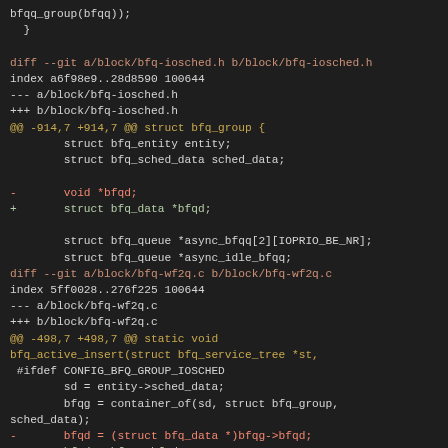bfqq_group(bfqq));
    }

diff --git a/block/bfq-iosched.h b/block/bfq-iosched.h
index a6f98e9..28d8590 100644
--- a/block/bfq-iosched.h
+++ b/block/bfq-iosched.h
@@ -914,7 +914,7 @@ struct bfq_group {
        struct bfq_entity entity;
        struct bfq_sched_data sched_data;

-       void *bfqd;
+       struct bfq_data *bfqd;

        struct bfq_queue *async_bfqq[2][IOPRIO_BE_NR];
        struct bfq_queue *async_idle_bfqq;
diff --git a/block/bfq-wf2q.c b/block/bfq-wf2q.c
index 5ff0028..276f225 100644
--- a/block/bfq-wf2q.c
+++ b/block/bfq-wf2q.c
@@ -498,7 +498,7 @@ static void
bfq_active_insert(struct bfq_service_tree *st,
 #ifdef CONFIG_BFQ_GROUP_IOSCHED
        sd = entity->sched_data;
        bfqg = container_of(sd, struct bfq_group,
sched_data);
-       bfqd = (struct bfq_data *)bfqg->bfqd;
+       bfqd = bfqg->bfqd;
 #endif
        if (bfqq)
           list_add_tail(&bfqq->bfqq_list, &bfqd->bfq_